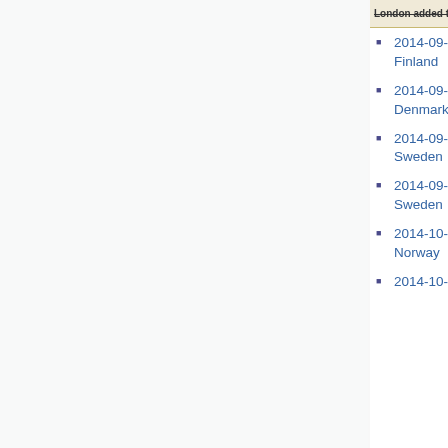London added to Autumn tour
2014-09-25, Tampere, Finland
2014-09-27, Randers, Denmark
2014-09-28, Malmö, Sweden
2014-09-29, Gothenburg, Sweden
2014-10-01, Bergen, Norway
2014-10-02, Oslo, Norway
2014-10-04, Uppsala, Sweden
2014-10-05, Linköping, Sweden
2014-10-07, Hamburg, Germany
2014-10-09, Berlin, Germany
2014-10-10, Leipzig, Germany
2014-10-12, Mainz, Germany
2014-10-13, Munich, Germany
2014-10-14, Stuttgart, Germany
2014-10-16, Dublin, Ireland
2014-10-17, Belfast, Northern Ireland
2014-10-18, Edinburgh, Scotland
2014-10-20, Paris, France